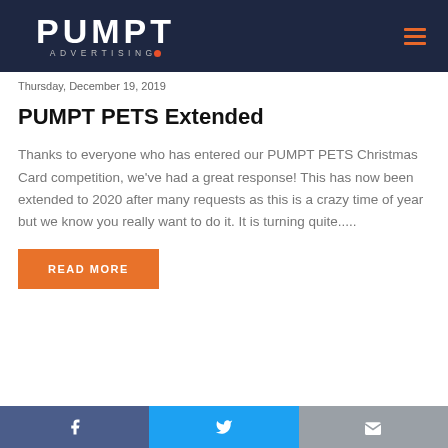PUMPT ADVERTISING
Thursday, December 19, 2019
PUMPT PETS Extended
Thanks to everyone who has entered our PUMPT PETS Christmas Card competition, we've had a great response! This has now been extended to 2020 after many requests as this is a crazy time of year but we know you really want to do it. It is turning quite.....
READ MORE
Facebook | Twitter | Email